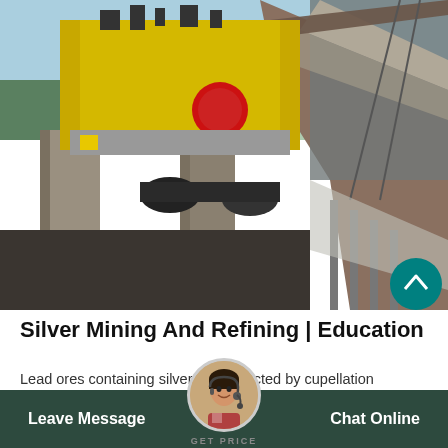[Figure (photo): Industrial mining equipment: large yellow crusher/grinder machine on concrete pillars, with conveyor belts and metal structures to the right, photographed from ground level against a light blue sky]
Silver Mining And Refining | Education
Lead ores containing silver are extracted by cupellation process developed by the chaldeans as early as 2,500 b.c. today, the… cupellation process involves b...shed ore onorous bed of
Leave Message  Chat Online